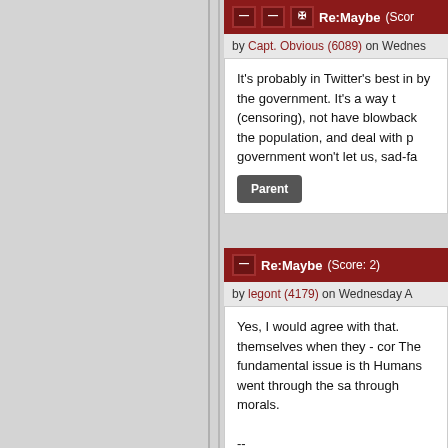Re:Maybe (Score:
by Capt. Obvious (6089) on Wednes
It's probably in Twitter's best in by the government. It's a way t (censoring), not have blowback the population, and deal with p government won't let us, sad-fa
Parent
Re:Maybe (Score: 2)
by legont (4179) on Wednesday A
Yes, I would agree with that. themselves when they - cor The fundamental issue is th Humans went through the sa through morals.
--
"Wealth is the relentless ene Kenneth Galbraith.
Parent